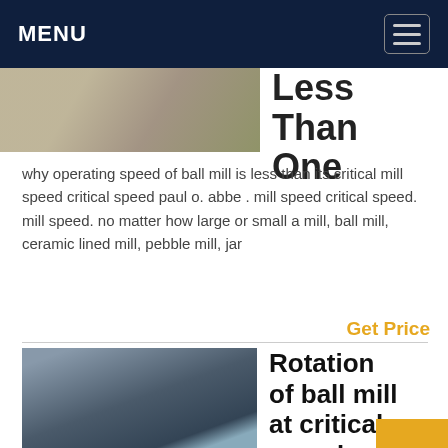MENU
[Figure (photo): Partial photo of industrial/construction site with machinery and materials]
Less Than One
why operating speed of ball mill is less than its critical mill speed critical speed paul o. abbe . mill speed critical speed. mill speed. no matter how large or small a mill, ball mill, ceramic lined mill, pebble mill, jar
Get Price
[Figure (photo): Industrial ball mill equipment inside a factory building, with a person standing next to it for scale, blue structural columns visible]
Rotation of ball mill at critical speed